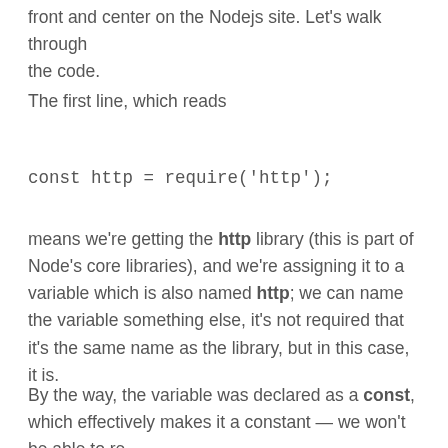front and center on the Nodejs site. Let's walk through the code.
The first line, which reads
means we're getting the http library (this is part of Node's core libraries), and we're assigning it to a variable which is also named http; we can name the variable something else, it's not required that it's the same name as the library, but in this case, it is.
By the way, the variable was declared as a const, which effectively makes it a constant — we won't be able to re-